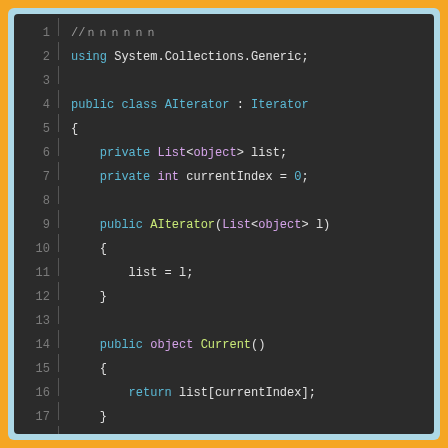[Figure (screenshot): Dark-themed code editor showing C# source code for a class AIterator implementing Iterator interface, with line numbers 1-22. Code includes using directive, class definition, private fields, constructor, Current() method, and beginning of First() method.]